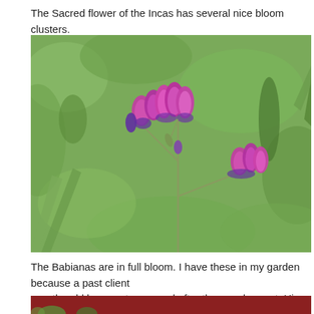The Sacred flower of the Incas has several nice bloom clusters.
[Figure (photo): Close-up photograph of purple and magenta Babiana flowers (bloom clusters) on a branching stem with narrow leaves, against a soft-focus green background.]
The Babianas are in full bloom. I have these in my garden because a past client way the old leaves stay around after they go dormant. His loss, my garden's gain
[Figure (photo): Partial view of another garden photo showing a dark reddish-brown background with a hint of green foliage at the bottom edge.]